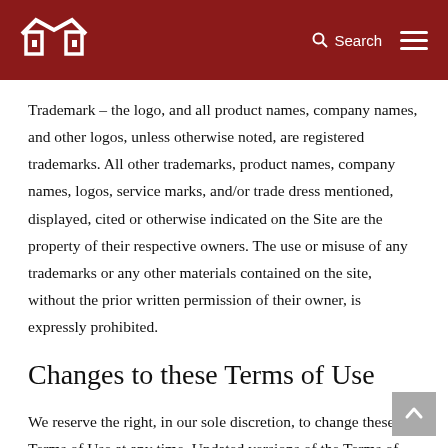[Figure (logo): White house/building logo mark on dark red header background]
Trademark – the logo, and all product names, company names, and other logos, unless otherwise noted, are registered trademarks. All other trademarks, product names, company names, logos, service marks, and/or trade dress mentioned, displayed, cited or otherwise indicated on the Site are the property of their respective owners. The use or misuse of any trademarks or any other materials contained on the site, without the prior written permission of their owner, is expressly prohibited.
Changes to these Terms of Use
We reserve the right, in our sole discretion, to change these Terms of Use at any time. Updated versions of the Terms of Use will be posted here on our Site and are effective immediately. On the release of the Site after we have posted updated Terms of Use, you agree to the updated Terms of Use.